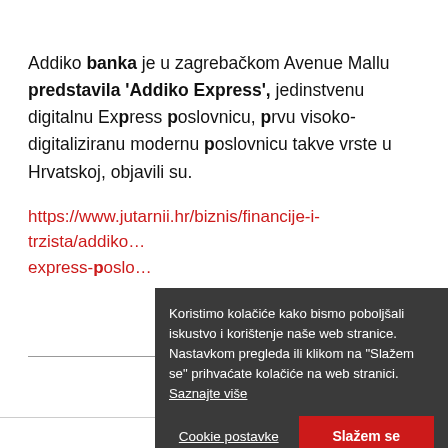Addiko banka je u zagrebačkom Avenue Mallu predstavila 'Addiko Express', jedinstvenu digitalnu Express poslovnicu, prvu visoko-digitaliziranu modernu poslovnicu takve vrste u Hrvatskoj, objavili su.
https://www.jutarnii.hr/biznis/financije-i-trzista/addiko...express-poslo...
Koristimo kolačiće kako bismo poboljšali iskustvo i korištenje naše web stranice. Nastavkom pregleda ili klikom na "Slažem se" prihvaćate kolačiće na web stranici. Saznajte više
Cookie postavke | Slažem se